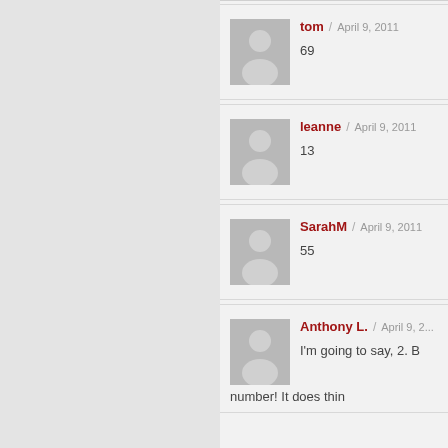tom / April 9, 2011
69
leanne / April 9, 2011
13
SarahM / April 9, 2011
55
Anthony L. / April 9, 2... 
I'm going to say, 2. B...
number! It does thin...